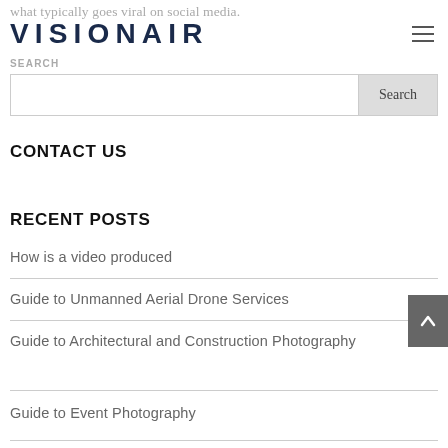what typically goes viral on social media.
VISIONAIR
SEARCH
Search
CONTACT US
RECENT POSTS
How is a video produced
Guide to Unmanned Aerial Drone Services
Guide to Architectural and Construction Photography
Guide to Event Photography